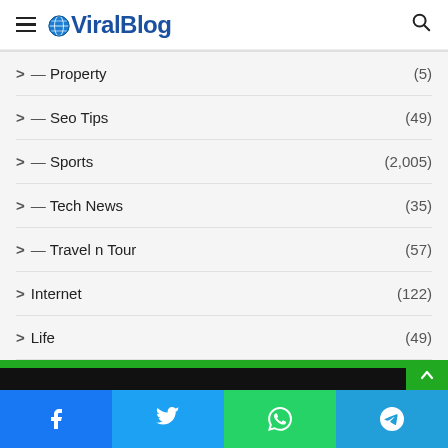ViralBlog
— Property (5)
— Seo Tips (49)
— Sports (2,005)
— Tech News (35)
— Travel n Tour (57)
Internet (122)
Life (49)
Tech (28)
Facebook | Twitter | WhatsApp | Telegram